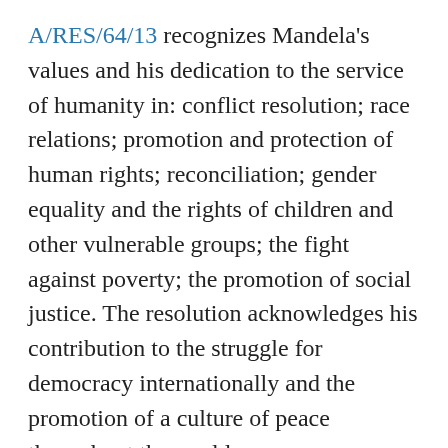A/RES/64/13 recognizes Mandela's values and his dedication to the service of humanity in: conflict resolution; race relations; promotion and protection of human rights; reconciliation; gender equality and the rights of children and other vulnerable groups; the fight against poverty; the promotion of social justice. The resolution acknowledges his contribution to the struggle for democracy internationally and the promotion of a culture of peace throughout the world.
To learn more about how and why the UN commemorates Nelson Mandela International Day, please